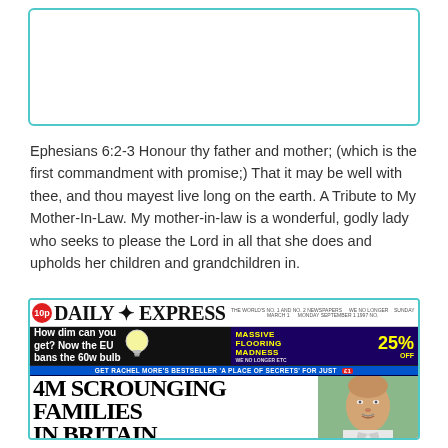[Figure (other): Empty teal-bordered box (image placeholder) at top of page]
Ephesians 6:2-3 Honour thy father and mother; (which is the first commandment with promise;) That it may be well with thee, and thou mayest live long on the earth. A Tribute to My Mother-In-Law. My mother-in-law is a wonderful, godly lady who seeks to please the Lord in all that she does and upholds her children and grandchildren in.
[Figure (screenshot): Daily Express newspaper front page showing masthead '10p DAILY EXPRESS', headline 'How dim can you get? Now the EU bans the 60w bulb', advertisement for 'MASSIVE FLOORING MADNESS 25% OFF', blue strip 'GET RACHEL MORE'S BESTSELLER A PLACE OF SECRETS FOR JUST £1', main headline '4M SCROUNGING FAMILIES IN BRITAIN', subheading 'And there's 370,000 households where no one has EVER worked', photo of an older man, caption 'London's no longer']